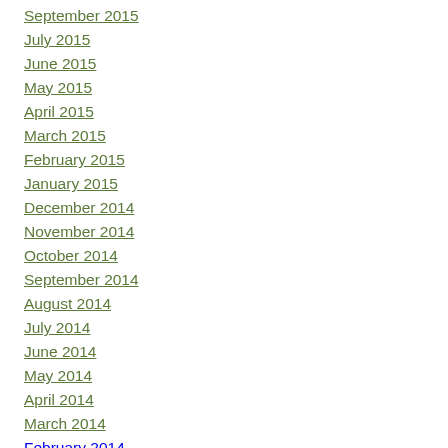September 2015
July 2015
June 2015
May 2015
April 2015
March 2015
February 2015
January 2015
December 2014
November 2014
October 2014
September 2014
August 2014
July 2014
June 2014
May 2014
April 2014
March 2014
February 2014